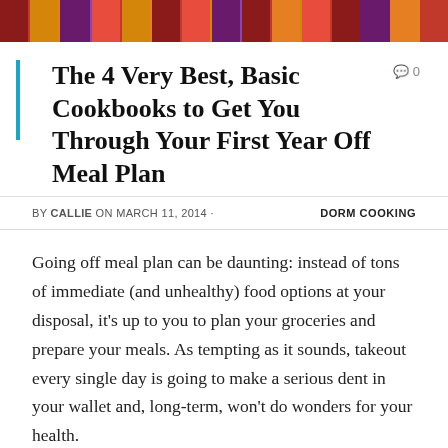[Figure (photo): A row of colorful cookbook spines on a shelf, cropped to show just the tops of the books.]
The 4 Very Best, Basic Cookbooks to Get You Through Your First Year Off Meal Plan
BY CALLIE ON MARCH 11, 2014 · DORM COOKING
Going off meal plan can be daunting: instead of tons of immediate (and unhealthy) food options at your disposal, it's up to you to plan your groceries and prepare your meals. As tempting as it sounds, takeout every single day is going to make a serious dent in your wallet and, long-term, won't do wonders for your health.
Instead of getting discouraged, think of this as an opportunity to learn new skills, eat healthier and spend time